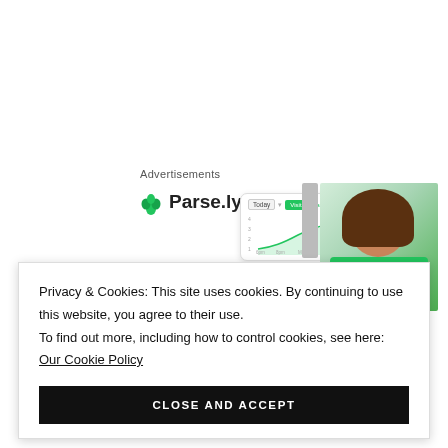Advertisements
[Figure (screenshot): Parse.ly advertisement with logo showing a green leaf icon and bold 'Parse.ly' text, alongside a dashboard mockup screenshot and a photo of a smiling woman with long dark hair wearing a green top]
Privacy & Cookies: This site uses cookies. By continuing to use this website, you agree to their use.
To find out more, including how to control cookies, see here: Our Cookie Policy
CLOSE AND ACCEPT